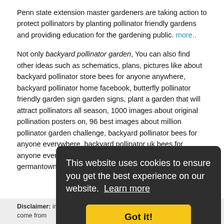Penn state extension master gardeners are taking action to protect pollinators by planting pollinator friendly gardens and providing education for the gardening public. more..
Not only backyard pollinator garden, You can also find other ideas such as schematics, plans, pictures like about backyard pollinator store bees for anyone anywhere, backyard pollinator home facebook, butterfly pollinator friendly garden sign garden signs, plant a garden that will attract pollinators all season, 1000 images about original pollination posters on, 96 best images about million pollinator garden challenge, backyard pollinator bees for anyone everywhere, backyard pollinator uk bees for anyone everywhere, 10 best herb pollinator garden for germantown rd images, pollinators metro and many more.
Don't ... or Co... use th... Andr... button...
[Figure (screenshot): Cookie consent overlay on dark background saying 'This website uses cookies to ensure you get the best experience on our website. Learn more' with a yellow 'Got it!' button.]
Disclaimer: images, articles or videos on this website sometimes come from